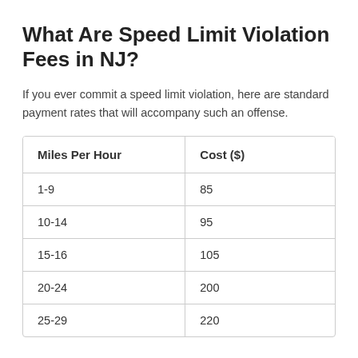What Are Speed Limit Violation Fees in NJ?
If you ever commit a speed limit violation, here are standard payment rates that will accompany such an offense.
| Miles Per Hour | Cost ($) |
| --- | --- |
| 1-9 | 85 |
| 10-14 | 95 |
| 15-16 | 105 |
| 20-24 | 200 |
| 25-29 | 220 |